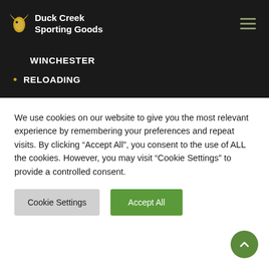Duck Creek Sporting Goods
WINCHESTER
RELOADING
RELOADING DIES AND SETS
HANDGUN DIE SETS
RIFLE RELOADING DIE SETS
SIZE,CRIMPING,DECAPPING DIES
RELOADING MANUALS
RELOADING TOOLS
We use cookies on our website to give you the most relevant experience by remembering your preferences and repeat visits. By clicking “Accept All”, you consent to the use of ALL the cookies. However, you may visit “Cookie Settings” to provide a controlled consent.